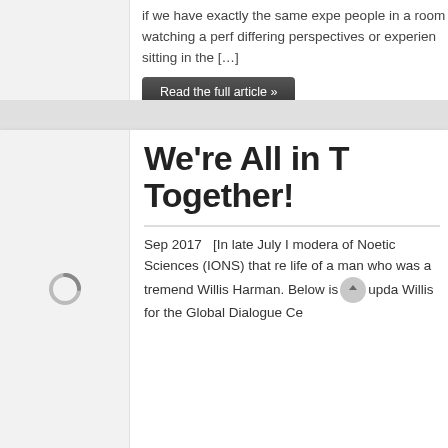if we have exactly the same expe people in a room watching a perf differing perspectives or experien sitting in the […]
Read the full article »
We're All in T Together!
Sep 2017   [In late July I modera of Noetic Sciences (IONS) that re life of a man who was a tremend Willis Harman. Below is upda Willis for the Global Dialogue Ce